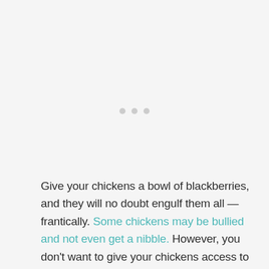[Figure (other): Three small grey dots arranged horizontally, resembling a loading indicator or ellipsis decoration]
Give your chickens a bowl of blackberries, and they will no doubt engulf them all — frantically. Some chickens may be bullied and not even get a nibble. However, you don't want to give your chickens access to a whole bowl of berries, nor do you want the flock attacking the bushes and